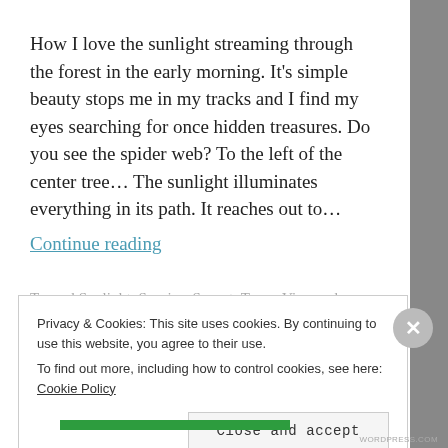How I love the sunlight streaming through the forest in the early morning. It's simple beauty stops me in my tracks and I find my eyes searching for once hidden treasures. Do you see the spider web? To the left of the center tree... The sunlight illuminates everything in its path. It reaches out to…
Continue reading
Tagged Sunlight, Sunrise, Sunset, Trees, Vineyard, Walks in the vineyard, Walks in the woods, Woods
3 Comments
Privacy & Cookies: This site uses cookies. By continuing to use this website, you agree to their use. To find out more, including how to control cookies, see here: Cookie Policy
Close and accept